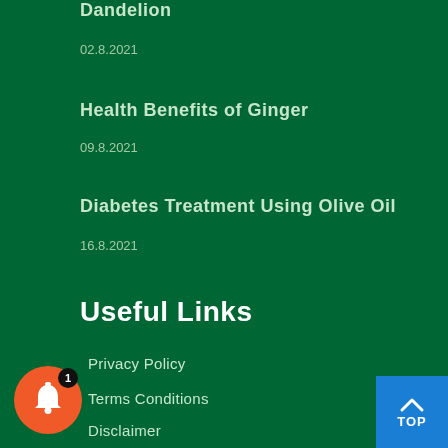Dandelion
02.8.2021
Health Benefits of Ginger
09.8.2021
Diabetes Treatment Using Olive Oil
16.8.2021
Useful Links
Privacy Policy
Terms Conditions
Disclaimer